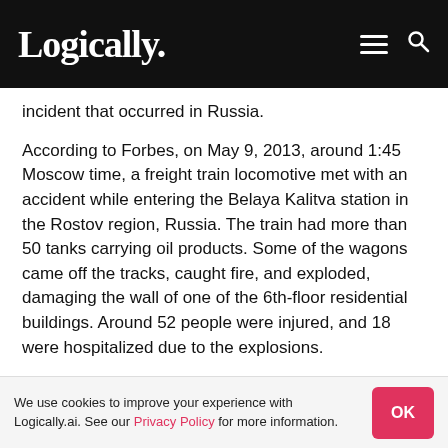Logically.
incident that occurred in Russia.
According to Forbes, on May 9, 2013, around 1:45 Moscow time, a freight train locomotive met with an accident while entering the Belaya Kalitva station in the Rostov region, Russia. The train had more than 50 tanks carrying oil products. Some of the wagons came off the tracks, caught fire, and exploded, damaging the wall of one of the 6th-floor residential buildings. Around 52 people were injured, and 18 were hospitalized due to the explosions.
The Russian Ministry of Emergency Situations
We use cookies to improve your experience with Logically.ai. See our Privacy Policy for more information. OK